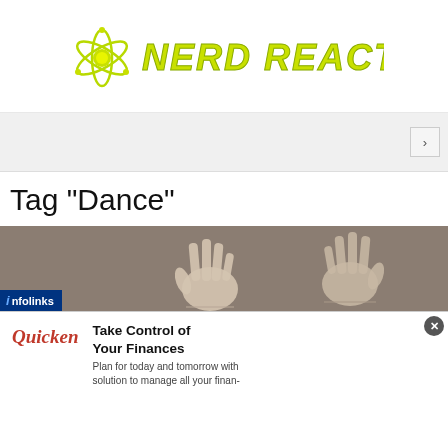[Figure (logo): Nerd Reactor logo with yellow-green atomic symbol and stylized yellow-green italic text reading NERD REACTOR]
Tag "Dance"
[Figure (photo): Photograph of two raised hands with palms facing outward against a brownish-grey background, with an infolinks badge overlay in the lower left]
[Figure (other): Quicken advertisement banner: Take Control of Your Finances - Plan for today and tomorrow with solution to manage all your finances]